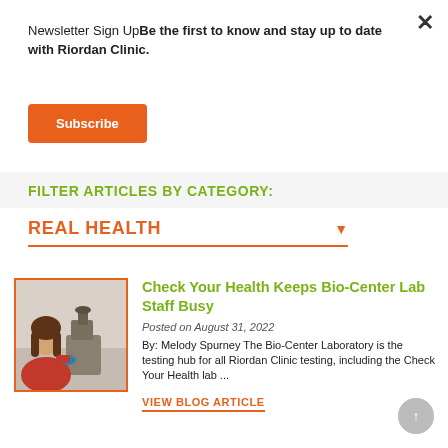Newsletter Sign UpBe the first to know and stay up to date with Riordan Clinic.
Subscribe
FILTER ARTICLES BY CATEGORY:
REAL HEALTH
[Figure (photo): Woman in red shirt with blue gloves looking into a microscope in a laboratory setting]
Check Your Health Keeps Bio-Center Lab Staff Busy
Posted on August 31, 2022
By: Melody Spurney The Bio-Center Laboratory is the testing hub for all Riordan Clinic testing, including the Check Your Health lab ...
VIEW BLOG ARTICLE